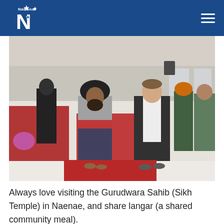National Party logo and navigation
[Figure (photo): Two men standing together inside a Gurudwara (Sikh Temple) in Naenae. One man is wearing a black turban and a grey, red, and black jacket. The other man is wearing a dark blazer over a white shirt. The interior shows red carpet runners over white sheets on the floor, with other people in the background.]
Always love visiting the Gurudwara Sahib (Sikh Temple) in Naenae, and share langar (a shared community meal).